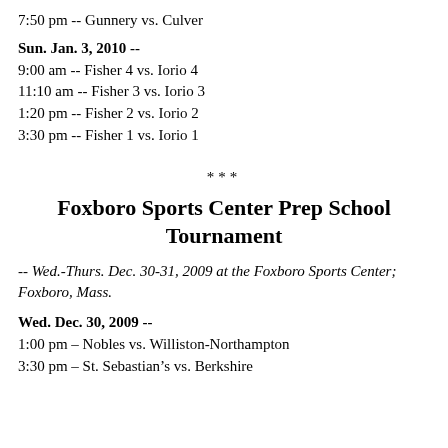7:50 pm -- Gunnery vs. Culver
Sun. Jan. 3, 2010 --
9:00 am -- Fisher 4 vs. Iorio 4
11:10 am -- Fisher 3 vs. Iorio 3
1:20 pm -- Fisher 2 vs. Iorio 2
3:30 pm -- Fisher 1 vs. Iorio 1
***
Foxboro Sports Center Prep School Tournament
-- Wed.-Thurs. Dec. 30-31, 2009 at the Foxboro Sports Center; Foxboro, Mass.
Wed. Dec. 30, 2009 --
1:00 pm – Nobles vs. Williston-Northampton
3:30 pm – St. Sebastian's vs. Berkshire